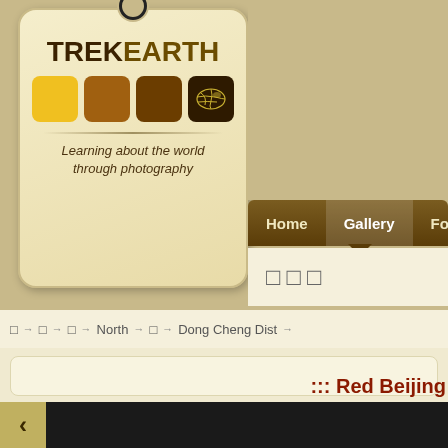[Figure (logo): TrekEarth logo tag with colorful squares and world map icon, tagline: Learning about the world through photography]
Home  Gallery  Forums  C...
□□□
□→ □→ □→ North→ □→ Dong Cheng Dist→
::: Red Beijing
[Figure (screenshot): Bottom dark image bar with back navigation arrow button]